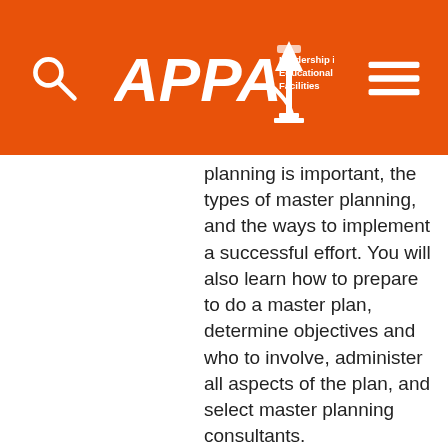APPA Leadership in Educational Facilities
planning is important, the types of master planning, and the ways to implement a successful effort. You will also learn how to prepare to do a master plan, determine objectives and who to involve, administer all aspects of the plan, and select master planning consultants.
PDF, 112 pages, ISBN 0-913359-85-8, Item A694 $ 40.00 (Member Price: $ 20.00)
View Details